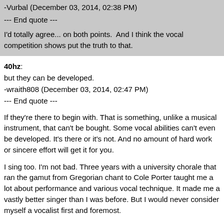-Vurbal (December 03, 2014, 02:38 PM)
--- End quote ---

I'd totally agree... on both points.  And I think the vocal competition shows put the truth to that.
40hz:
but they can be developed.
-wraith808 (December 03, 2014, 02:47 PM)
--- End quote ---
If they're there to begin with. That is something, unlike a musical instrument, that can't be bought. Some vocal abilities can't even be developed. It's there or it's not. And no amount of hard work or sincere effort will get it for you.
I sing too. I'm not bad. Three years with a university chorale that ran the gamut from Gregorian chant to Cole Porter taught me a lot about performance and various vocal technique. It made me a vastly better singer than I was before. But I would never consider myself a vocalist first and foremost.
I suspect (no proof to offer on this btw) that probably something like 70% of all people could be taught to sing adequately, with a higher percentage of them being women rather than men. But that's not the same thing as considering them 'singers', any more than